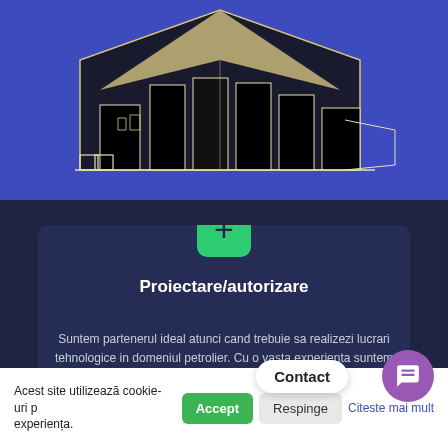[Figure (illustration): Architectural/engineering line drawing of a building structure with geometric shapes on a blue background]
Proiectare/autorizare
Suntem partenerul ideal atunci cand trebuie sa realizezi lucrari tehnologice in domeniul petrolier. Cu o vasta experienta suntem specializati in obtinerea autorizatiilor si
Acest site utilizează cookie-uri pentru a îmbunătăți experiența.
Contact
Accept
Respinge
Citeste mai mult